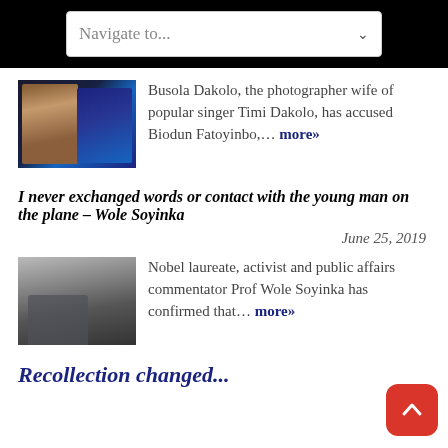[Figure (photo): Thumbnail photo showing two people — a woman in black attire and a man in a suit — against a blue background]
Busola Dakolo, the photographer wife of popular singer Timi Dakolo, has accused Biodun Fatoyinbo,… more»
I never exchanged words or contact with the young man on the plane – Wole Soyinka
June 25, 2019
[Figure (photo): Thumbnail photo showing an elderly man seated on an airplane]
Nobel laureate, activist and public affairs commentator Prof Wole Soyinka has confirmed that… more»
Recollection changed...